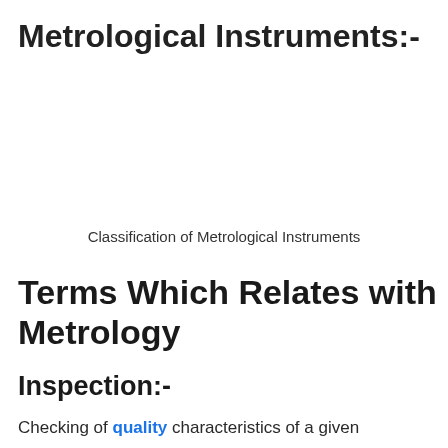Metrological Instruments:-
Classification of Metrological Instruments
Terms Which Relates with Metrology
Inspection:-
Checking of quality characteristics of a given